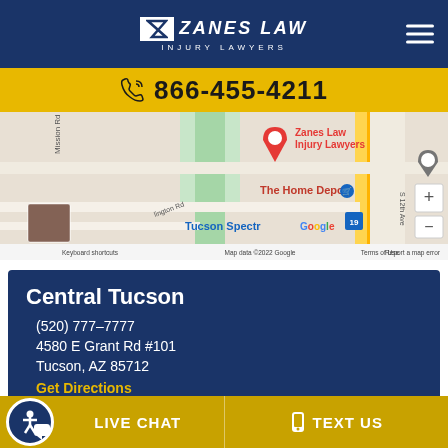Zanes Law Injury Lawyers
866-455-4211
[Figure (map): Google Maps showing location of Zanes Law Injury Lawyers near The Home Depot and Tucson Spectrum in Tucson, AZ. Map shows streets including Mission Rd, S 12th Ave, and route 19.]
Central Tucson
(520) 777-7777
4580 E Grant Rd #101
Tucson, AZ  85712
Get Directions
LIVE CHAT   TEXT US